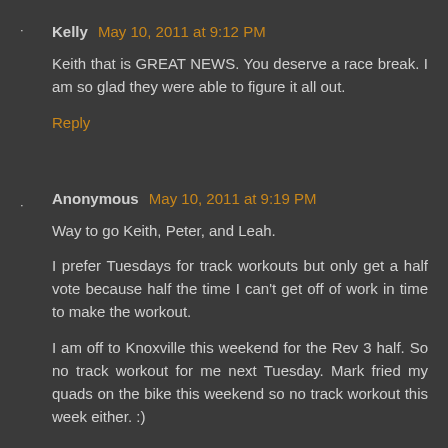Kelly  May 10, 2011 at 9:12 PM
Keith that is GREAT NEWS. You deserve a race break. I am so glad they were able to figure it all out.
Reply
Anonymous  May 10, 2011 at 9:19 PM
Way to go Keith, Peter, and Leah.
I prefer Tuesdays for track workouts but only get a half vote because half the time I can't get off of work in time to make the workout.
I am off to Knoxville this weekend for the Rev 3 half. So no track workout for me next Tuesday. Mark fried my quads on the bike this weekend so no track workout this week either. :)
Reply